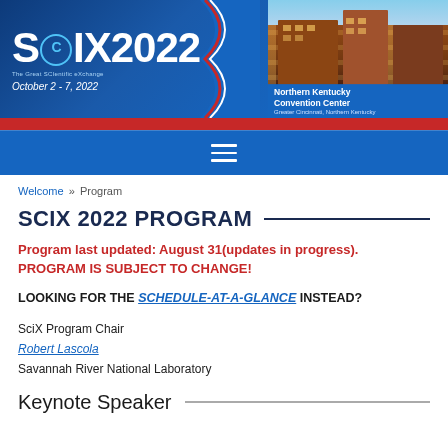[Figure (screenshot): SCIX 2022 conference banner with logo, date October 2-7 2022, Northern Kentucky Convention Center photo, and navigation bar]
Welcome » Program
SCIX 2022 PROGRAM
Program last updated: August 31(updates in progress). PROGRAM IS SUBJECT TO CHANGE!
LOOKING FOR THE SCHEDULE-AT-A-GLANCE INSTEAD?
SciX Program Chair
Robert Lascola
Savannah River National Laboratory
Keynote Speaker